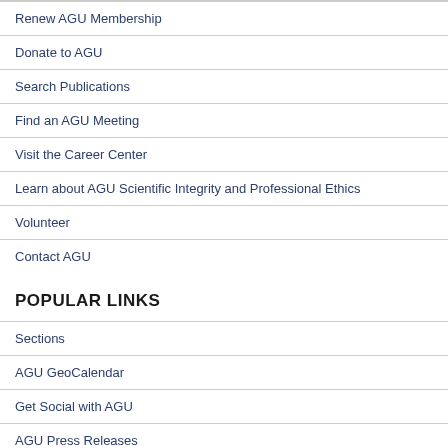Renew AGU Membership
Donate to AGU
Search Publications
Find an AGU Meeting
Visit the Career Center
Learn about AGU Scientific Integrity and Professional Ethics
Volunteer
Contact AGU
POPULAR LINKS
Sections
AGU GeoCalendar
Get Social with AGU
AGU Press Releases
Latest Science Policy News
Education and Outreach Programs